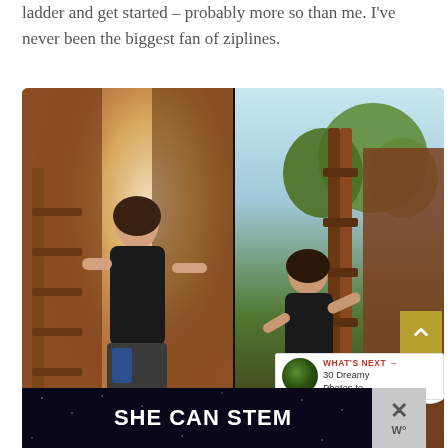ladder and get started – probably more so than me. I've never been the biggest fan of ziplines.
[Figure (photo): Two side-by-side photographs of a woman climbing a wooden ladder with zipline harness gear. Left photo has a warm indoor filter; right photo is an outdoor daylight shot with trees and a wooden fence in the background. UI overlays include an up-arrow button, a share button, and a 'What's Next → 30 Dreamy Photos to...' recommendation box.]
[Figure (screenshot): Bottom banner advertisement reading 'SHE CAN STEM' in bold white text on a dark starry background, with an X close button on the right side showing a W° logo.]